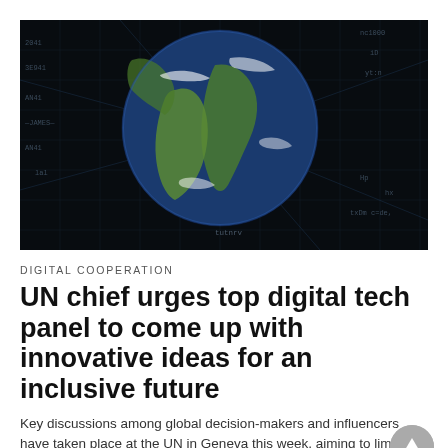[Figure (photo): Globe of Earth shown against a dark digital data background with glowing grid lines and text overlays, showing Africa and South America continents]
DIGITAL COOPERATION
UN chief urges top digital tech panel to come up with innovative ideas for an inclusive future
Key discussions among global decision-makers and influencers have taken place at the UN in Geneva this week, aiming to limit...